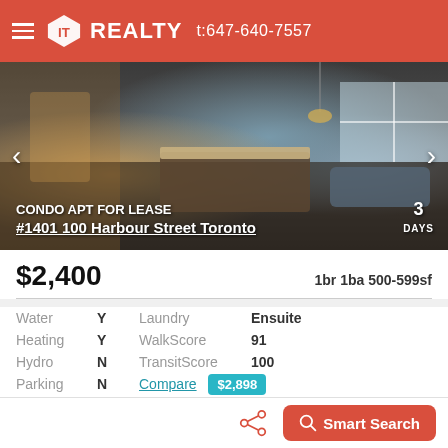IT REALTY t:647-640-7557
[Figure (photo): Interior photo of a condo apartment showing kitchen island, open plan living area with windows, furniture visible. Navigation arrows on left and right.]
CONDO APT FOR LEASE #1401 100 Harbour Street Toronto
3 DAYS
$2,400  1br 1ba 500-599sf
| Label | Value | Label | Value |
| --- | --- | --- | --- |
| Water | Y | Laundry | Ensuite |
| Heating | Y | WalkScore | 91 |
| Hydro | N | TransitScore | 100 |
| Parking | N | Compare | $2,898 |
[Figure (photo): Preview of another property listing with 'New' badge and icons for map, heart, share]
Smart Search